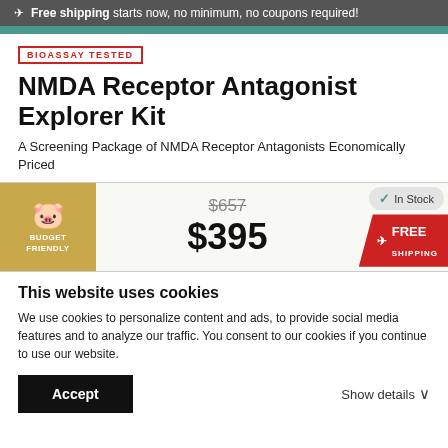Free shipping starts now, no minimum, no coupons required!
[Figure (logo): BIOASSAY TESTED badge in red border]
NMDA Receptor Antagonist Explorer Kit
A Screening Package of NMDA Receptor Antagonists Economically Priced
[Figure (infographic): Budget Friendly piggy bank icon with pricing: original $657 crossed out, sale price $395, In Stock badge, FREE SHIPPING badge]
This website uses cookies
We use cookies to personalize content and ads, to provide social media features and to analyze our traffic. You consent to our cookies if you continue to use our website.
Accept
Show details